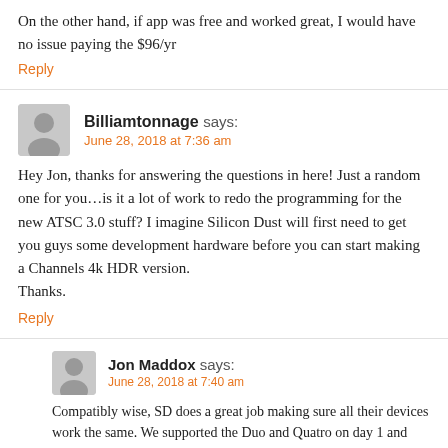On the other hand, if app was free and worked great, I would have no issue paying the $96/yr
Reply
Billiamtonnage says:
June 28, 2018 at 7:36 am
Hey Jon, thanks for answering the questions in here! Just a random one for you…is it a lot of work to redo the programming for the new ATSC 3.0 stuff? I imagine Silicon Dust will first need to get you guys some development hardware before you can start making a Channels 4k HDR version.
Thanks.
Reply
Jon Maddox says:
June 28, 2018 at 7:40 am
Compatibly wise, SD does a great job making sure all their devices work the same. We supported the Duo and Quatro on day 1 and expect the same for the upcoming 6 tuner Prime update.